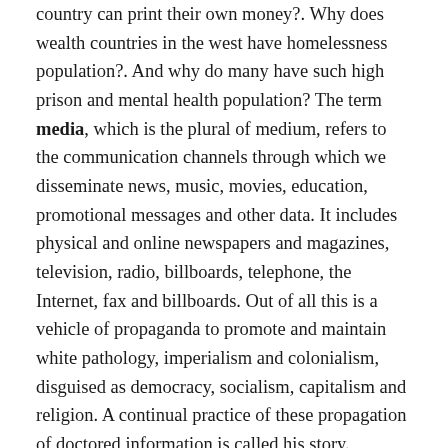country can print their own money?. Why does wealth countries in the west have homelessness population?. And why do many have such high prison and mental health population? The term media, which is the plural of medium, refers to the communication channels through which we disseminate news, music, movies, education, promotional messages and other data. It includes physical and online newspapers and magazines, television, radio, billboards, telephone, the Internet, fax and billboards. Out of all this is a vehicle of propaganda to promote and maintain white pathology, imperialism and colonialism, disguised as democracy, socialism, capitalism and religion. A continual practice of these propagation of doctored information is called his story. According to "Wackapedia", an historian is a person who studies and writes about the past and is regarded as an authority on it. Historians are concerned with the continuous, methodical narrative and research of past events as relating to the human race; as well as the study of all his story in time. Ever since Wackapedia became the go to site for information, have you noticed that the platform offers any joe blow the opportunity to